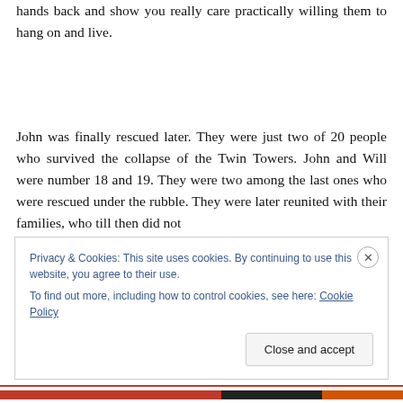hands back and show you really care practically willing them to hang on and live.
John was finally rescued later. They were just two of 20 people who survived the collapse of the Twin Towers. John and Will were number 18 and 19. They were two among the last ones who were rescued under the rubble. They were later reunited with their families, who till then did not
Privacy & Cookies: This site uses cookies. By continuing to use this website, you agree to their use.
To find out more, including how to control cookies, see here: Cookie Policy